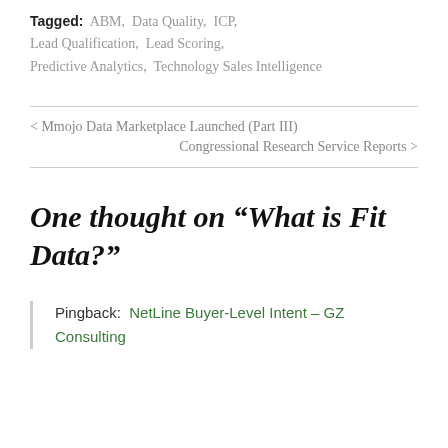Tagged: ABM, Data Quality, ICP, Lead Qualification, Lead Scoring, Predictive Analytics, Technology Sales Intelligence
< Mmojo Data Marketplace Launched (Part III)
Congressional Research Service Reports >
One thought on “What is Fit Data?”
Pingback: NetLine Buyer-Level Intent – GZ Consulting